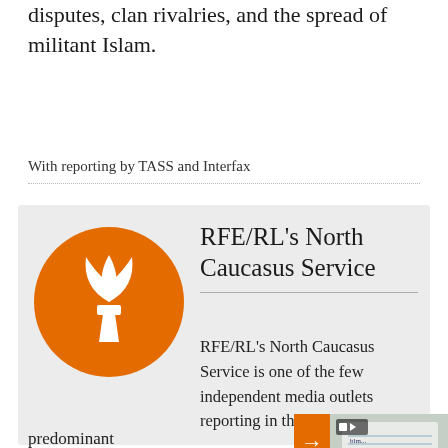disputes, clan rivalries, and the spread of militant Islam.
With reporting by TASS and Interfax
[Figure (logo): RFE/RL torch logo orange circle with white flame/torch icon]
RFE/RL's North Caucasus Service
RFE/RL's North Caucasus Service is one of the few independent media outlets reporting in this
predominant... repressive ar... Federation.
[Figure (photo): Thumbnail of a notebook with handwriting, video icon overlay]
Yehor's Diary: Singer Buys A Home For 9-Year-Old Boy Who Documented Mariupol Siege
webteam@r...